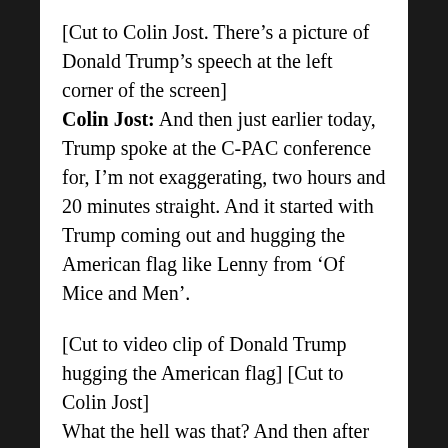[Cut to Colin Jost. There's a picture of Donald Trump's speech at the left corner of the screen]
Colin Jost: And then just earlier today, Trump spoke at the C-PAC conference for, I'm not exaggerating, two hours and 20 minutes straight. And it started with Trump coming out and hugging the American flag like Lenny from 'Of Mice and Men'.
[Cut to video clip of Donald Trump hugging the American flag] [Cut to Colin Jost]
What the hell was that? And then after that, patriotic me too moment, it